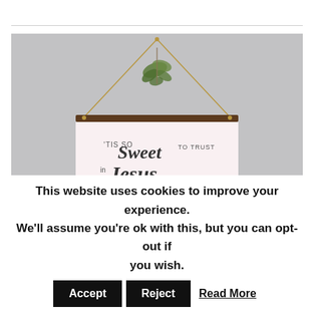[Figure (photo): A decorative wall hanging sign with wooden bars at top and bottom, suspended by rope/twine with a small sprig of greenery at the top. The sign reads 'tis so Sweet to Trust in Jesus' with floral decorations at the bottom. Background is a neutral gray wall.]
This website uses cookies to improve your experience. We'll assume you're ok with this, but you can opt-out if you wish.
Accept
Reject
Read More